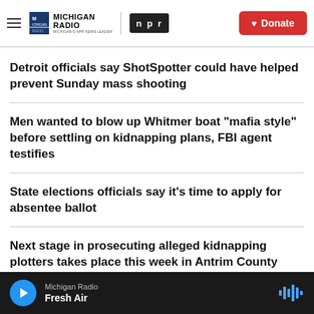Michigan Radio | NPR | Donate
Detroit officials say ShotSpotter could have helped prevent Sunday mass shooting
Men wanted to blow up Whitmer boat "mafia style" before settling on kidnapping plans, FBI agent testifies
State elections officials say it's time to apply for absentee ballot
Next stage in prosecuting alleged kidnapping plotters takes place this week in Antrim County
Michigan Radio | Fresh Air